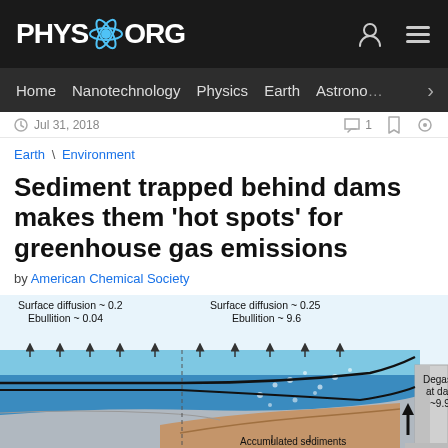PHYS.ORG
Home | Nanotechnology | Physics | Earth | Astronomy
Jul 31, 2018
Earth \ Environment
Sediment trapped behind dams makes them 'hot spots' for greenhouse gas emissions
by American Chemical Society
[Figure (illustration): Scientific diagram showing a cross-section of a reservoir behind a dam, illustrating greenhouse gas emission pathways. Labels include: Surface diffusion ~0.2, Ebullition ~0.04 (upstream), Surface diffusion ~0.25, Ebullition ~9.6 (near dam), Degassing at dams ~9.9, and Accumulated sediments at the bottom.]